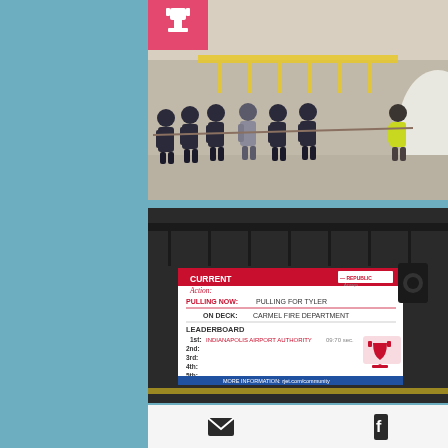[Figure (photo): Firefighters in dark uniforms pulling a rope together in an airport hangar. A person in a yellow vest assists. A red trophy icon with a pink/red background is visible in the upper left of the image.]
[Figure (photo): Large LED scoreboard display in an airport hangar showing: CURRENT Action: PULLING NOW: PULLING FOR TYLER, ON DECK: CARMEL FIRE DEPARTMENT, LEADERBOARD: 1st: INDIANAPOLIS AIRPORT AUTHORITY 09:70 sec., 2nd:, 3rd:, 4th:, 5th:, MORE INFORMATION: rjet.com/community. Republic Airways logo visible. Red trophy icon on the right side.]
[Figure (infographic): Social media icons: email envelope icon on the left and Facebook icon on the right, on a white background bar.]